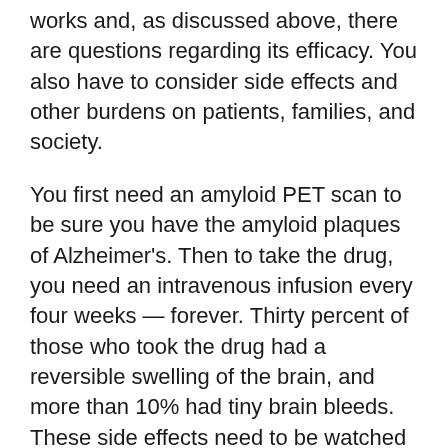works and, as discussed above, there are questions regarding its efficacy. You also have to consider side effects and other burdens on patients, families, and society.
You first need an amyloid PET scan to be sure you have the amyloid plaques of Alzheimer's. Then to take the drug, you need an intravenous infusion every four weeks — forever. Thirty percent of those who took the drug had a reversible swelling of the brain, and more than 10% had tiny brain bleeds. These side effects need to be watched closely by an expert neurology/radiology team who understand how to monitor for these events, and know when to pause or stop the drug.
Another factor to consider is the size of the benefit. Here, it was fairly small. Looking at the two objective